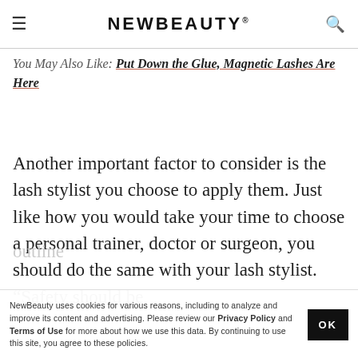NEWBEAUTY
You May Also Like: Put Down the Glue, Magnetic Lashes Are Here
Another important factor to consider is the lash stylist you choose to apply them. Just like how you would take your time to choose a personal trainer, doctor or surgeon, you should do the same with your lash stylist. “Safety should be
NewBeauty uses cookies for various reasons, including to analyze and improve its content and advertising. Please review our Privacy Policy and Terms of Use for more about how we use this data. By continuing to use this site, you agree to these policies.